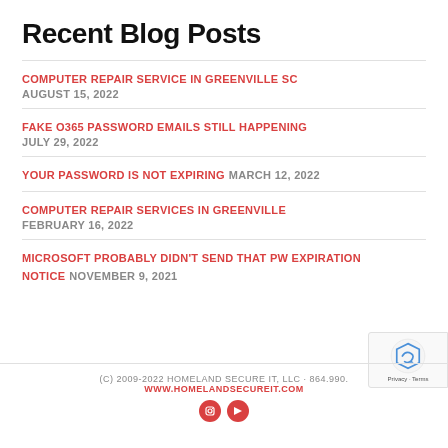Recent Blog Posts
COMPUTER REPAIR SERVICE IN GREENVILLE SC — AUGUST 15, 2022
FAKE O365 PASSWORD EMAILS STILL HAPPENING — JULY 29, 2022
YOUR PASSWORD IS NOT EXPIRING — MARCH 12, 2022
COMPUTER REPAIR SERVICES IN GREENVILLE — FEBRUARY 16, 2022
MICROSOFT PROBABLY DIDN'T SEND THAT PW EXPIRATION NOTICE — NOVEMBER 9, 2021
(C) 2009-2022 HOMELAND SECURE IT, LLC · 864.990. WWW.HOMELANDSECUREIT.COM